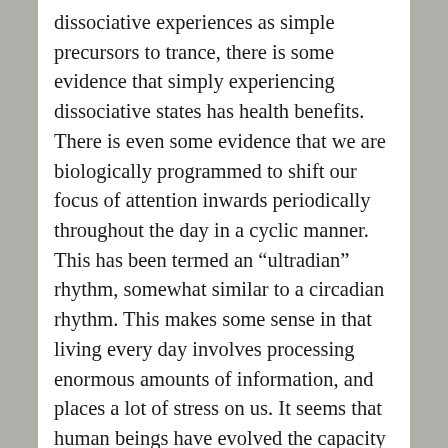dissociative experiences as simple precursors to trance, there is some evidence that simply experiencing dissociative states has health benefits. There is even some evidence that we are biologically programmed to shift our focus of attention inwards periodically throughout the day in a cyclic manner. This has been termed an “ultradian” rhythm, somewhat similar to a circadian rhythm. This makes some sense in that living every day involves processing enormous amounts of information, and places a lot of stress on us. It seems that human beings have evolved the capacity to withdraw and shut down access to perceptual reality in order to “take a break”.

Dissociative abilities are probably present in most people; however, the degree of